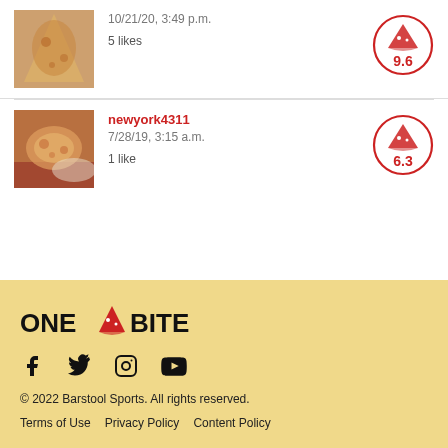[Figure (photo): Photo of a pizza slice, first review]
10/21/20, 3:49 p.m.
5 likes
[Figure (other): Score badge showing 9.6 with pizza icon]
[Figure (photo): Photo of a pizza slice on a plate, second review]
newyork4311
7/28/19, 3:15 a.m.
1 like
[Figure (other): Score badge showing 6.3 with pizza icon]
[Figure (logo): ONE BITE logo with pizza slice icon]
[Figure (other): Social media icons: Facebook, Twitter, Instagram, YouTube]
© 2022 Barstool Sports. All rights reserved.
Terms of Use    Privacy Policy    Content Policy